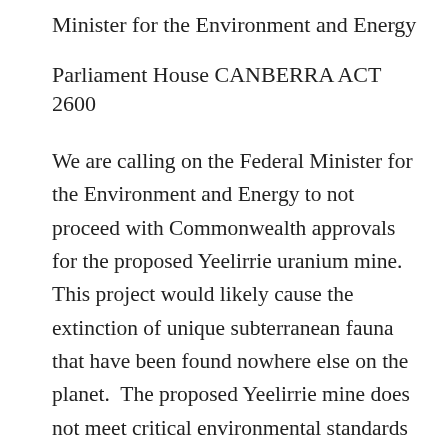Minister for the Environment and Energy
Parliament House CANBERRA ACT 2600
We are calling on the Federal Minister for the Environment and Energy to not proceed with Commonwealth approvals for the proposed Yeelirrie uranium mine. This project would likely cause the extinction of unique subterranean fauna that have been found nowhere else on the planet.  The proposed Yeelirrie mine does not meet critical environmental standards and puts unique species of subterranean fauna at severe risk of extinction. In 2017 the former Western Australian Environment Minister went against state EPA advice and approved the proposed Yeelirrie uranium mine – a project that is likely to cause the extinction of multiple species